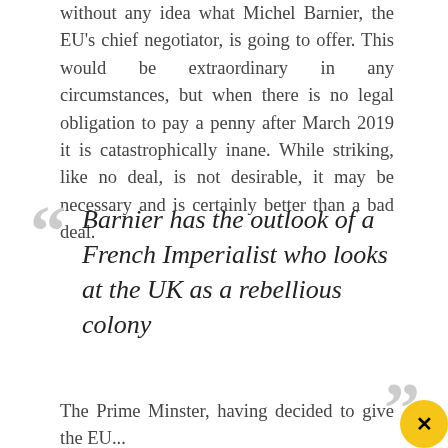without any idea what Michel Barnier, the EU's chief negotiator, is going to offer. This would be extraordinary in any circumstances, but when there is no legal obligation to pay a penny after March 2019 it is catastrophically inane. While striking, like no deal, is not desirable, it may be necessary and is certainly better than a bad deal.
Barnier has the outlook of a French Imperialist who looks at the UK as a rebellious colony
The Prime Minster, having decided to give the EU...